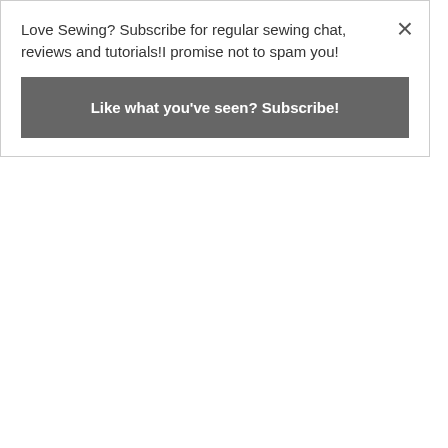Love Sewing? Subscribe for regular sewing chat, reviews and tutorials!I promise not to spam you!
Like what you've seen? Subscribe!
absolutely have mentally shifted from a self-proclaimed ‘Sewist’ to a fully-rounded ‘Maker’. What a crackin’ start to 2020!
Do you have a Cricut? Do you have any favourite hints or tips you'd like to share? Or are you thinking of getting one? Or did you get one and its still in its box?! Let me know!
Until next time, happy sewing... and